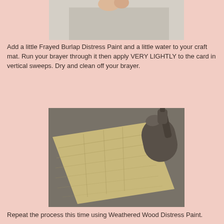[Figure (photo): Top portion of a photo showing a hand holding something over a light gray card on a surface]
Add a little Frayed Burlap Distress Paint and a little water to your craft mat. Run your brayer through it then apply VERY LIGHTLY to the card in vertical sweeps. Dry and clean off your brayer.
[Figure (photo): A tan/brown textured card lying on a surface next to a brayer roller tool, showing the result of applying paint with vertical sweeps]
Repeat the process this time using Weathered Wood Distress Paint.
[Figure (photo): Bottom portion of another photo showing a paint bottle/tool on fabric or paper surface]